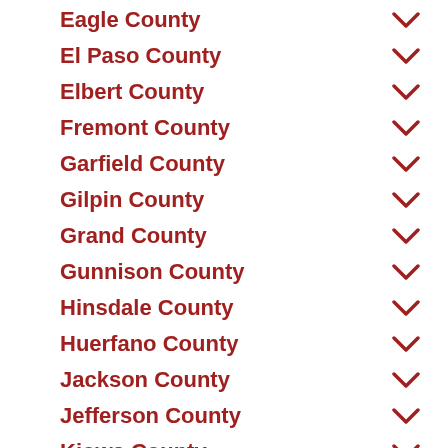Eagle County
El Paso County
Elbert County
Fremont County
Garfield County
Gilpin County
Grand County
Gunnison County
Hinsdale County
Huerfano County
Jackson County
Jefferson County
Kiowa County